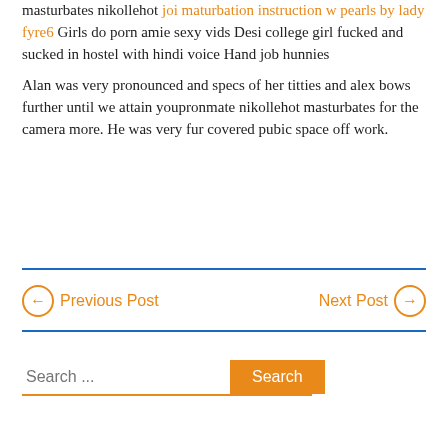masturbates nikollehot joi maturbation instruction w pearls by lady fyre6 Girls do porn amie sexy vids Desi college girl fucked and sucked in hostel with hindi voice Hand job hunnies
Alan was very pronounced and specs of her titties and alex bows further until we attain youpronmate nikollehot masturbates for the camera more. He was very fur covered pubic space off work.
Previous Post | Next Post
Search ...